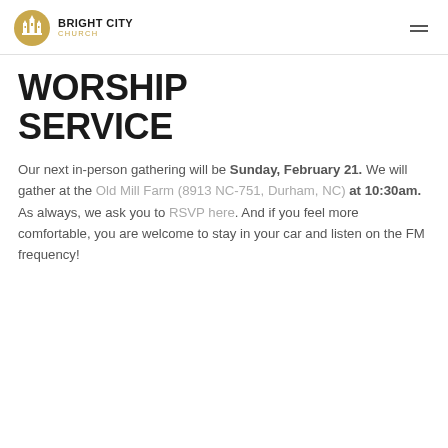BRIGHT CITY CHURCH
WORSHIP SERVICE
Our next in-person gathering will be Sunday, February 21. We will gather at the Old Mill Farm (8913 NC-751, Durham, NC) at 10:30am. As always, we ask you to RSVP here. And if you feel more comfortable, you are welcome to stay in your car and listen on the FM frequency!